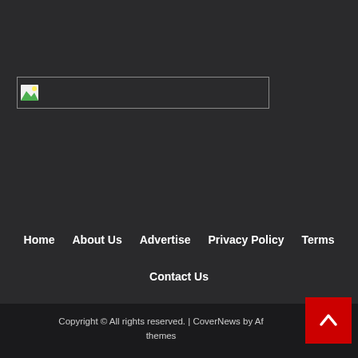[Figure (other): Broken/placeholder image with green icon, wide horizontal rectangle with border]
Home
About Us
Advertise
Privacy Policy
Terms
Contact Us
Copyright © All rights reserved. | CoverNews by Af themes
[Figure (other): Red scroll-to-top button with upward chevron arrow]